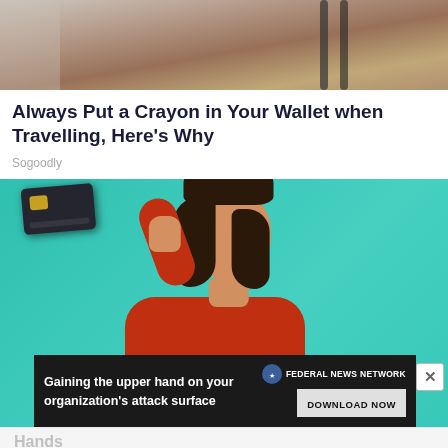[Figure (photo): Partial top image showing what appears to be hands or objects, cropped, showing at the top of the page]
Always Put a Crayon in Your Wallet when Travelling, Here's Why
Sogoodly
[Figure (photo): Young woman with short brown hair holding a dark credit card in front of her eye, making a kissy face, wearing a red top, against a teal/turquoise background]
Gaining the upper hand on your organization's attack surface
FEDERAL NEWS NETWORK
DOWNLOAD NOW
Hands